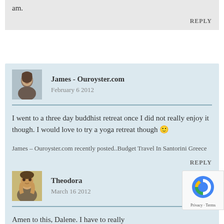am.
REPLY
[Figure (photo): Avatar photo of James, a young man]
James - Ouroyster.com
February 6 2012
I went to a three day buddhist retreat once I did not really enjoy it though. I would love to try a yoga retreat though 🙂
James – Ouroyster.com recently posted..Budget Travel In Santorini Greece
REPLY
[Figure (photo): Avatar photo of Theodora, a woman with hand near face]
Theodora
March 16 2012
Amen to this, Dalene. I have to really